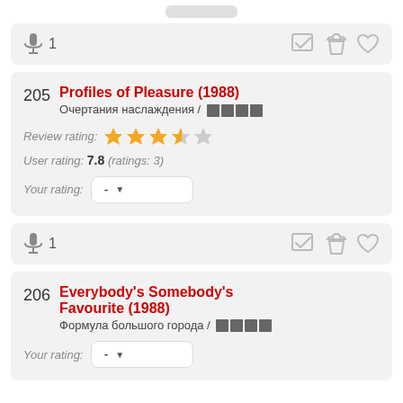[Figure (screenshot): Top partial card showing a rounded button/bar at top]
Microphone icon with count 1, toolbar with check, popcorn, heart icons
205 Profiles of Pleasure (1988) / Очертания наслаждения / XXXX
Review rating: 3.5 stars
User rating: 7.8 (ratings: 3)
Your rating: - (dropdown)
Microphone icon with count 1, toolbar with check, popcorn, heart icons
206 Everybody's Somebody's Favourite (1988) / Формула большого города / XXXX
Your rating: - (dropdown)